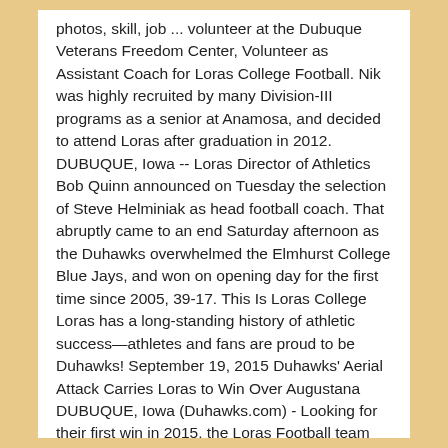photos, skill, job ... volunteer at the Dubuque Veterans Freedom Center, Volunteer as Assistant Coach for Loras College Football. Nik was highly recruited by many Division-III programs as a senior at Anamosa, and decided to attend Loras after graduation in 2012. DUBUQUE, Iowa -- Loras Director of Athletics Bob Quinn announced on Tuesday the selection of Steve Helminiak as head football coach. That abruptly came to an end Saturday afternoon as the Duhawks overwhelmed the Elmhurst College Blue Jays, and won on opening day for the first time since 2005, 39-17. This Is Loras College Loras has a long-standing history of athletic success—athletes and fans are proud to be Duhawks! September 19, 2015 Duhawks' Aerial Attack Carries Loras to Win Over Augustana DUBUQUE, Iowa (Duhawks.com) - Looking for their first win in 2015, the Loras Football team released their big guns on offense to the tune of 588 passing yards from senior Nik